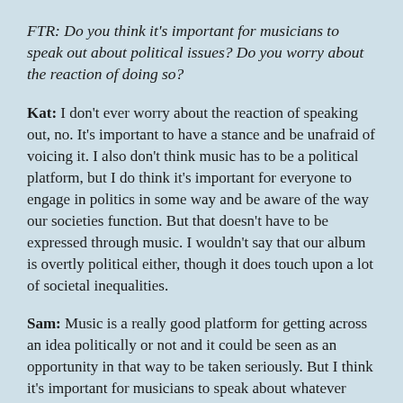FTR: Do you think it's important for musicians to speak out about political issues? Do you worry about the reaction of doing so?
Kat: I don't ever worry about the reaction of speaking out, no. It's important to have a stance and be unafraid of voicing it. I also don't think music has to be a political platform, but I do think it's important for everyone to engage in politics in some way and be aware of the way our societies function. But that doesn't have to be expressed through music. I wouldn't say that our album is overtly political either, though it does touch upon a lot of societal inequalities.
Sam: Music is a really good platform for getting across an idea politically or not and it could be seen as an opportunity in that way to be taken seriously. But I think it's important for musicians to speak about whatever they want to. Like I said, music is not for one